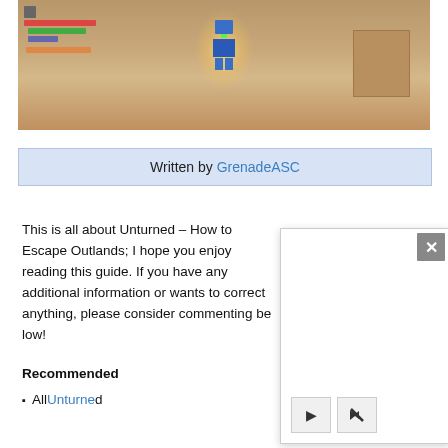[Figure (screenshot): Game screenshot from Unturned showing a first-person view with a character figure in the center, HUD bars on the left, and a wooden crate on the right side.]
Written by GrenadeASC
This is all about Unturned – How to Escape Outlands; I hope you enjoy reading th[is guide. If you have any additional information or w[ants to correct anything, please consider commenting be[low!]
Recommended
All Unturne[d Guides!]
[Figure (screenshot): Popup overlay with a close button (X) and video player controls (play button and mute button) at the bottom.]